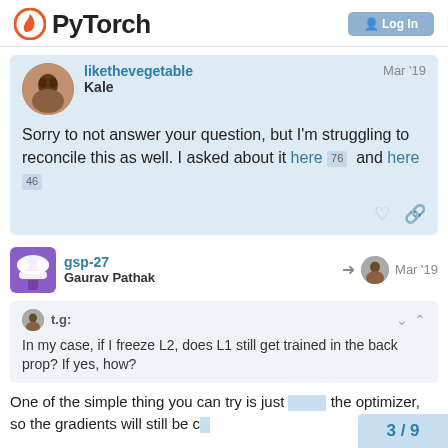[Figure (logo): PyTorch logo with flame icon and text 'PyTorch', and a login button on the right]
likethevegetable
Kale
Mar '19
Sorry to not answer your question, but I'm struggling to reconcile this as well. I asked about it here 76 and here 46
gsp-27
Gaurav Pathak
Mar '19
t.g:
In my case, if I freeze L2, does L1 still get trained in the back prop? If yes, how?
One of the simple thing you can try is just ... the optimizer, so the gradients will still be c...
3 / 9